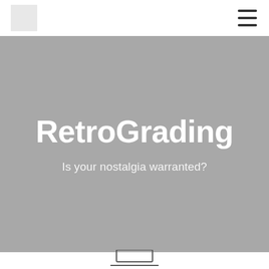[Figure (logo): Light gray square logo placeholder in top-left nav bar]
[Figure (illustration): Hamburger menu icon (three horizontal bars) in top-right of nav bar]
RetroGrading
Is your nostalgia warranted?
[Figure (illustration): Partial laptop/monitor outline visible at bottom edge of page]